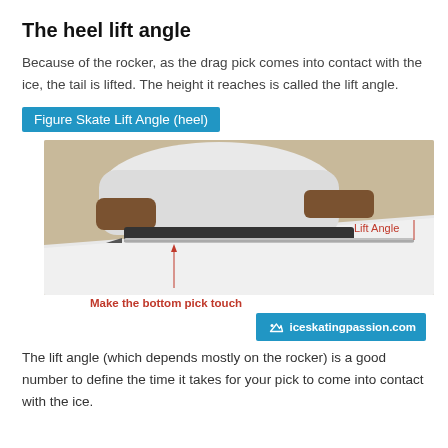The heel lift angle
Because of the rocker, as the drag pick comes into contact with the ice, the tail is lifted. The height it reaches is called the lift angle.
Figure Skate Lift Angle (heel)
[Figure (photo): Side view photo of a figure ice skate showing the heel lift angle. The blade is flat against a white surface with the heel raised. Red annotation arrow points to bottom pick area labeled 'Make the bottom pick touch'. A 'Lift Angle' label in red appears at upper right of the blade.]
iceskatingpassion.com
The lift angle (which depends mostly on the rocker) is a good number to define the time it takes for your pick to come into contact with the ice.